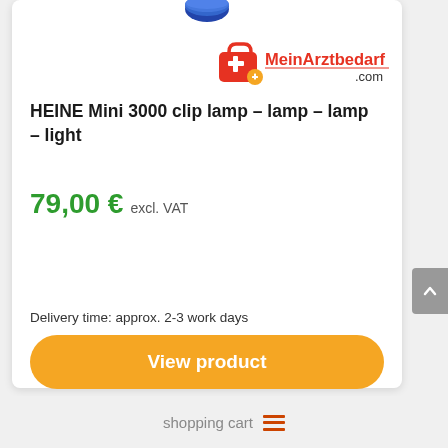[Figure (photo): Partial product image at top of card — a small blue cylindrical/pill-shaped object (lamp component)]
[Figure (logo): MeinArztbedarf.com logo — red medical bag icon with white cross and orange plus, followed by 'MeinArztbedarf' in red and '.com' in dark text]
HEINE Mini 3000 clip lamp – lamp – lamp – light
79,00 € excl. VAT
Delivery time: approx. 2-3 work days
View product
shopping cart